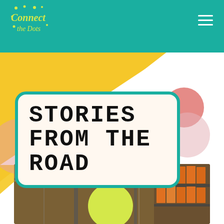[Figure (logo): Connect the Dots logo in yellow-green on teal background]
STORIES FROM THE ROAD
[Figure (photo): Interior warehouse photo showing metal shelving with orange boxes and structural steel beams]